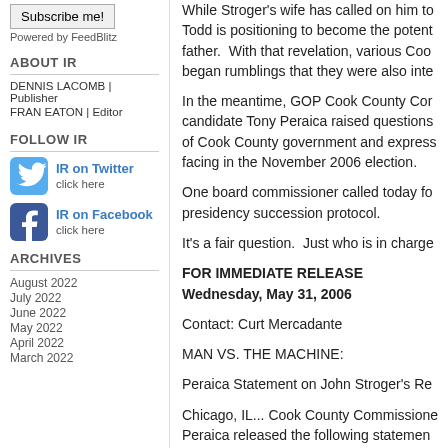Subscribe me!
Powered by FeedBlitz
ABOUT IR
DENNIS LACOMB | Publisher
FRAN EATON | Editor
FOLLOW IR
IR on Twitter
click here
IR on Facebook
click here
ARCHIVES
August 2022
July 2022
June 2022
May 2022
April 2022
March 2022
While Stroger's wife has called on him to... Todd is positioning to become the potent... father. With that revelation, various Coo... began rumblings that they were also inte...
In the meantime, GOP Cook County Co... candidate Tony Peraica raised questions... of Cook County government and express... facing in the November 2006 election.
One board commissioner called today fo... presidency succession protocol.
It's a fair question. Just who is in charge...
FOR IMMEDIATE RELEASE
Wednesday, May 31, 2006
Contact: Curt Mercadante
MAN VS. THE MACHINE:
Peraica Statement on John Stroger's Re...
Chicago, IL... Cook County Commissione... Peraica released the following statemen... Stroger has been readmitted to the hosp...